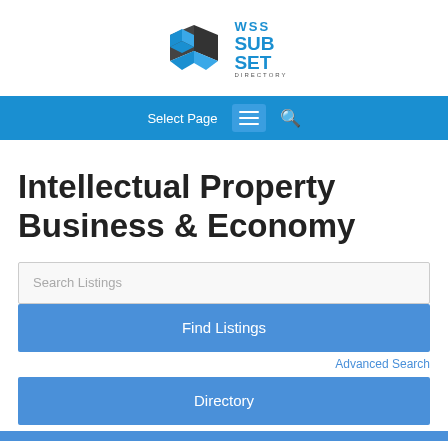[Figure (logo): WSS Subset Directory logo: blue geometric cube icon with 'WSS' text above and 'SUB SET DIRECTORY' text to the right]
Select Page  ☰  🔍
Intellectual Property Business & Economy
Search Listings
Find Listings
Advanced Search
Directory